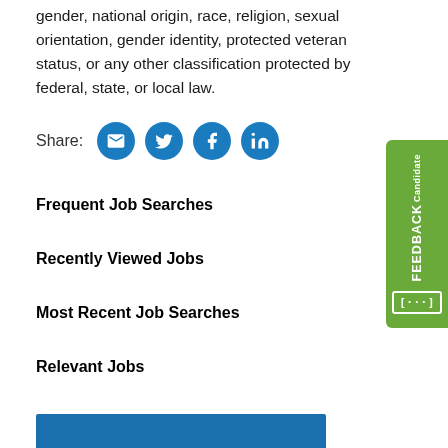gender, national origin, race, religion, sexual orientation, gender identity, protected veteran status, or any other classification protected by federal, state, or local law.
Share:
Frequent Job Searches
Recently Viewed Jobs
Most Recent Job Searches
Relevant Jobs
[Figure (other): Blue button/bar at the bottom of the page]
[Figure (other): Candidate FEEDBACK green tab on the right side of the page with envelope, twitter, facebook, linkedin share icons]